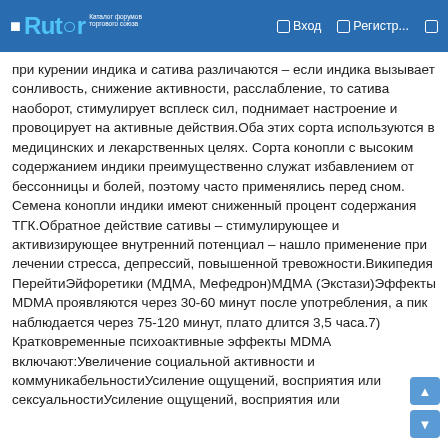Rutor — Вход — Регистр...
при курении индика и сатива различаются – если индика вызывает сонливость, снижение активности, расслабление, то сатива наоборот, стимулирует всплеск сил, поднимает настроение и провоцирует на активные действия.Оба этих сорта используются в медицинских и лекарственных целях. Сорта конопли с высоким содержанием индики преимущественно служат избавлением от бессонницы и болей, поэтому часто применялись перед сном. Семена конопли индики имеют сниженный процент содержания ТГК.Обратное действие сативы – стимулирующее и активизирующее внутренний потенциал – нашло применение при лечении стресса, депрессий, повышенной тревожности.Википедия ПерейтиЭйфоретики (МДМА, Мефедрон)МДМА (Экстази)Эффекты MDMA проявляются через 30-60 минут после употребления, а пик наблюдается через 75-120 минут, плато длится 3,5 часа.7) Кратковременные психоактивные эффекты MDMA включают:Увеличение социальной активности и коммуникабельностиУсиление ощущений, восприятия или сексуальностиУсиление ощущений, восприятия или